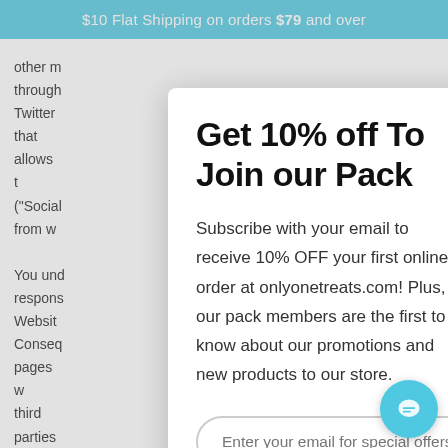$10 Flat Shipping on orders $79 and over
other m
through
Twitter
allows t
("Social
from w

You und
respons
Websit
Conseq
pages w
parties
or othe
own ris
accept
Get 10% off To Join our Pack
Subscribe with your email to receive 10% OFF your first online order at onlyonetreats.com! Plus, our pack members are the first to know about our promotions and new products to our store.
Enter your email for special offers!